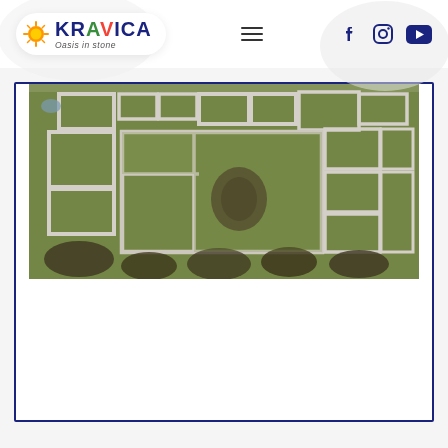[Figure (logo): Kravica Oasis in Stone logo with colorful text and sun icon, inside a rounded white bubble]
[Figure (other): Hamburger menu icon (three horizontal lines)]
[Figure (other): Social media icons: Facebook, Instagram, YouTube]
[Figure (photo): Aerial drone photograph of ancient stone ruins/foundations arranged in rectangular patterns on green grass, surrounded by bare trees, viewed from above]